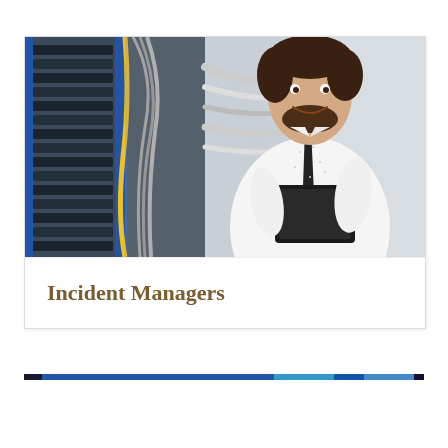[Figure (photo): A smiling man with a beard wearing a white dotted shirt and black tie, holding a tablet/clipboard, standing in front of a server rack with cables in a data center.]
Incident Managers